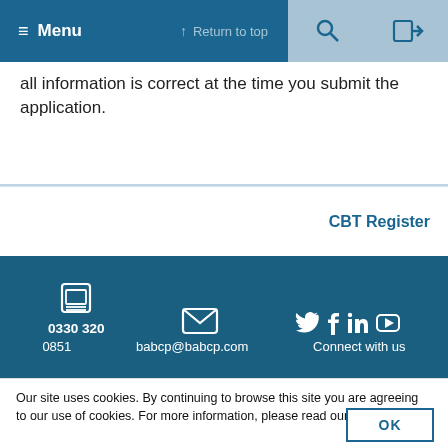≡ Menu  ↑ Return to top  🔍  ➡
all information is correct at the time you submit the application.
CBT Register
[Figure (infographic): Dark blue footer with phone icon and 0330 320 0851, email icon and babcp@babcp.com, social media icons (Twitter, Facebook, LinkedIn, YouTube) with 'Connect with us']
Our site uses cookies. By continuing to browse this site you are agreeing to our use of cookies. For more information, please read our Privacy Policy.